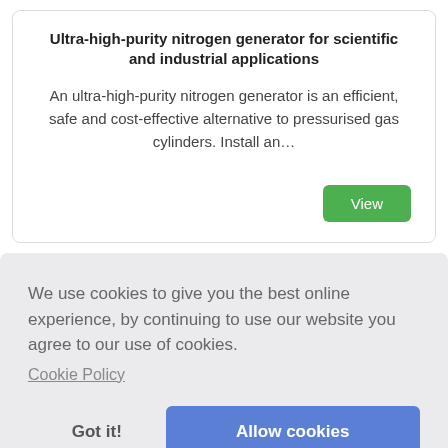Ultra-high-purity nitrogen generator for scientific and industrial applications
An ultra-high-purity nitrogen generator is an efficient, safe and cost-effective alternative to pressurised gas cylinders. Install an…
We use cookies to give you the best online experience, by continuing to use our website you agree to our use of cookies.
Cookie Policy
Got it!
Allow cookies